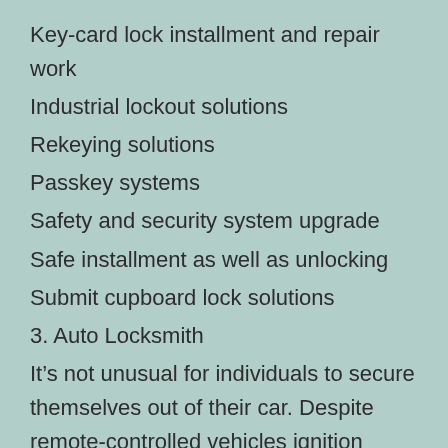Key-card lock installment and repair work
Industrial lockout solutions
Rekeying solutions
Passkey systems
Safety and security system upgrade
Safe installment as well as unlocking
Submit cupboard lock solutions
3. Auto Locksmith
It’s not unusual for individuals to secure themselves out of their car. Despite remote-controlled vehicles ignition problems can be testing for you. The good news is, automobile locksmiths are readily available to conserve